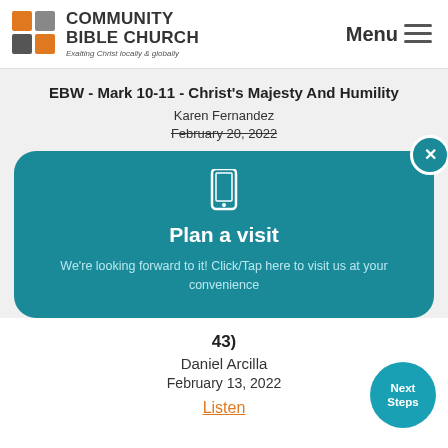[Figure (logo): Community Bible Church logo with orange and gray square icon and bold text, tagline 'Exalting Christ locally & globally']
Menu ≡
EBW - Mark 10-11 - Christ's Majesty And Humility
Karen Fernandez
February 20, 2022
[Figure (screenshot): Teal popup modal with phone icon, bold title 'Plan a visit', text 'We're looking forward to it! Click/Tap here to visit us at your convenience', and a close (x) button]
43)
Daniel Arcilla
February 13, 2022
Listen